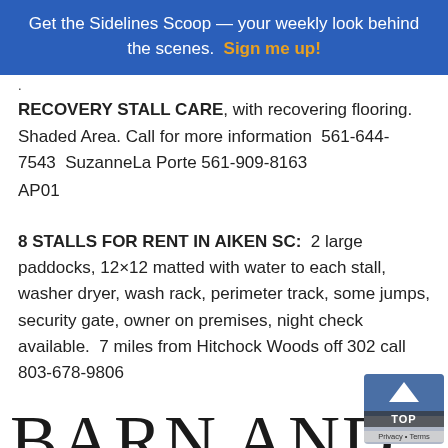Get the Sidelines Scoop — your weekly look behind the scenes. Sign me up!
.
RECOVERY STALL CARE, with recovering flooring. Shaded Area. Call for more information  561-644-7543  SuzanneLa Porte 561-909-8163
AP01
8 STALLS FOR RENT IN AIKEN SC:  2 large paddocks, 12×12 matted with water to each stall, washer dryer, wash rack, perimeter track, some jumps, security gate, owner on premises, night check available.  7 miles from Hitchock Woods off 302 call 803-678-9806
BARN AND